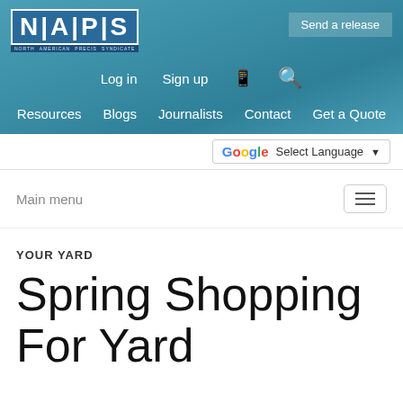[Figure (logo): NAPS (North American Precis Syndicate) logo, white text on blue background]
Send a release
Log in  Sign up
Resources  Blogs  Journalists  Contact  Get a Quote
Select Language
Main menu
YOUR YARD
Spring Shopping For Yard